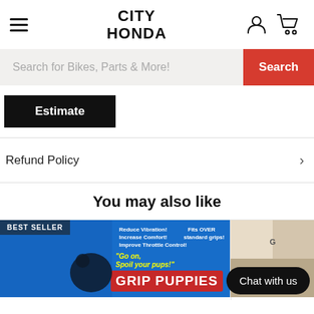CITY HONDA
Search for Bikes, Parts & More!
Estimate
Refund Policy
You may also like
[Figure (screenshot): Product card with BEST SELLER badge showing Grip Puppies motorcycle handlebar grips product packaging]
Chat with us